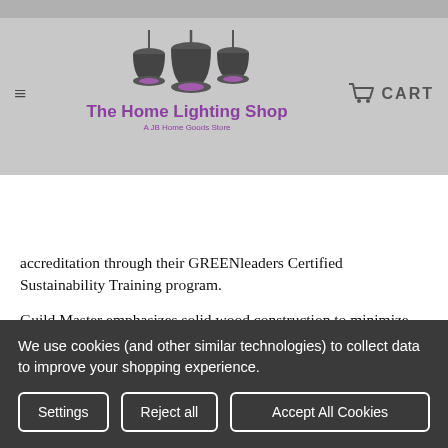[Figure (logo): The Home Lighting Shop logo with pendant lamps illustration and subtitle 'A JB Home Goods Store']
[Figure (screenshot): Search bar with magnifying glass icon, placeholder text 'SEARCH THE SHOP', and a gray 'GO' button]
accreditation through their GREENleaders Certified Sustainability Training program.
Guild Master emphasizes solid wood construction to minimize the use of adhesives and other additives and use only low formaldehyde formulations to reduce harmful off-gassing of VOC's and they are currently experimenting with water-based
We use cookies (and other similar technologies) to collect data to improve your shopping experience.